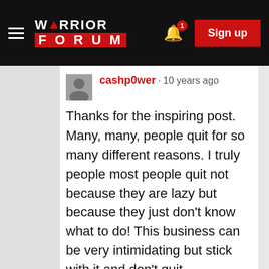WARRIOR FORUM — Sign up
cashp0wer · 10 years ago
Thanks for the inspiring post. Many, many, people quit for so many different reasons. I truly people most people quit not because they are lazy but because they just don't know what to do! This business can be very intimidating but stick with it and don't quit.